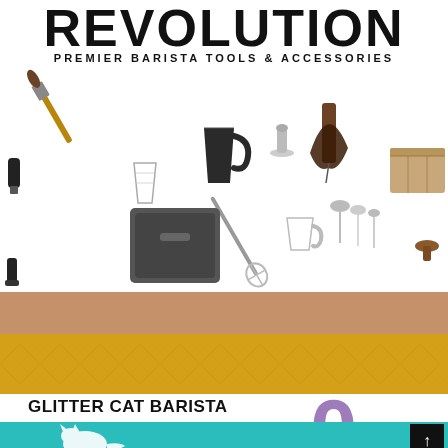REVOLUTION
PREMIER BARISTA TOOLS & ACCESSORIES
[Figure (photo): Collection of barista tools and accessories including tampers, milk frothing pitchers, espresso glasses, knock boxes, latte art tools, brushes, measuring spoons, and wooden accessories on white background]
[Figure (illustration): Tan/brown horizontal color band]
[Figure (illustration): Yellow/golden horizontal band with diamond pattern]
GLITTER CAT BARISTA
[Figure (illustration): Teal horizontal band with white cat silhouette and large purple letter, overlaid with pink band below. Scroll-up button in corner.]